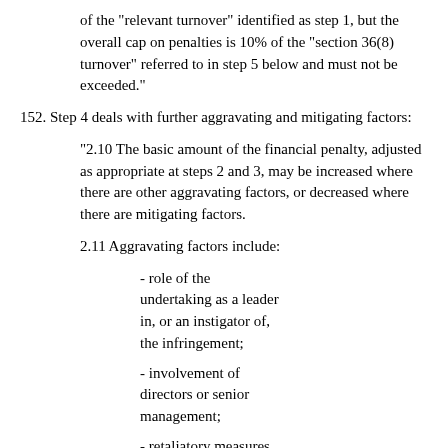of the "relevant turnover" identified as step 1, but the overall cap on penalties is 10% of the "section 36(8) turnover" referred to in step 5 below and must not be exceeded."
152. Step 4 deals with further aggravating and mitigating factors:
"2.10 The basic amount of the financial penalty, adjusted as appropriate at steps 2 and 3, may be increased where there are other aggravating factors, or decreased where there are mitigating factors.
2.11 Aggravating factors include:
- role of the undertaking as a leader in, or an instigator of, the infringement;
- involvement of directors or senior management;
- retaliatory measures taken against other